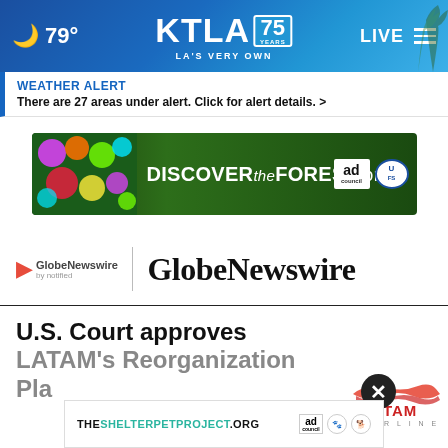[Figure (screenshot): KTLA 75 Years news website header with weather icon showing 79°, KTLA logo, LIVE button and menu icon]
WEATHER ALERT
There are 27 areas under alert. Click for alert details. >
[Figure (photo): DiscoverTheForest.org advertisement banner with colorful flowers, forest background, Ad Council and US Forest Service logos]
[Figure (logo): GlobeNewswire by notified logo with arrow icon on left, vertical divider, and large GlobeNewswire text on right]
U.S. Court approves LATAM's Reorganization Plan
[Figure (logo): LATAM Airlines logo]
[Figure (screenshot): Bottom advertisement for THESHELTERPETPROJECT.ORG with Ad Council logos]